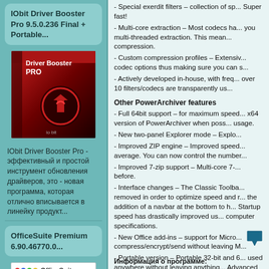IObit Driver Booster Pro 9.5.0.236 Final + Portable...
[Figure (photo): IObit Driver Booster Pro software box with red and black design]
IObit Driver Booster Pro - эффективный и простой инструмент обновления драйверов, это - новая программа, которая отлично вписывается в линейку продукт...
OfficeSuite Premium 6.90.46770.0...
[Figure (photo): OfficeSuite Premium software box with colorful logo and Russian text Офисный пакет]
- Special exerdit filters – collection of sp... Super fast!
- Multi-core extraction – Most codecs ha... you multi-threaded extraction. This mean... compression.
- Custom compression profiles – Extensiv... codec options thus making sure you can s...
- Actively developed in-house, with freq... over 10 filters/codecs are transparently us...
Other PowerArchiver features
- Full 64bit support – for maximum speed... x64 version of PowerArchiver when poss... usage.
- New two-panel Explorer mode – Explo...
- Improved ZIP engine – Improved speed... average. You can now control the number...
- Improved 7-zip support – Multi-core 7-... before.
- Interface changes – The Classic Toolba... removed in order to optimize speed and r... the addition of a navbar at the bottom to h... Startup speed has drastically improved us... computer specifications.
- New Office add-ins – support for Micro... compress/encrypt/send without leaving M...
- Portable version – Portable 32-bit and 6... used anywhere without leaving anything... Advanced Codec Pack (.PA) and even sh...
- Many other smaller improvements and a... application.
Информация о программе: